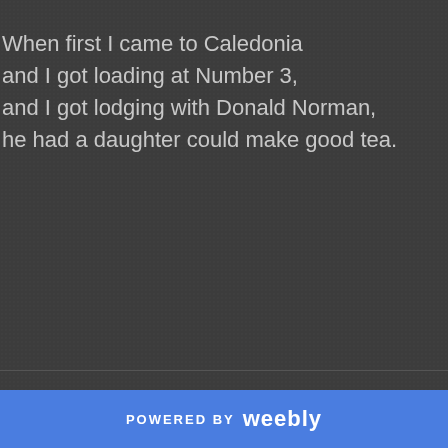When first I came to Caledonia
and I got loading at Number 3,
and I got lodging with Donald Norman,
he had a daughter could make good tea.
POWERED BY weebly